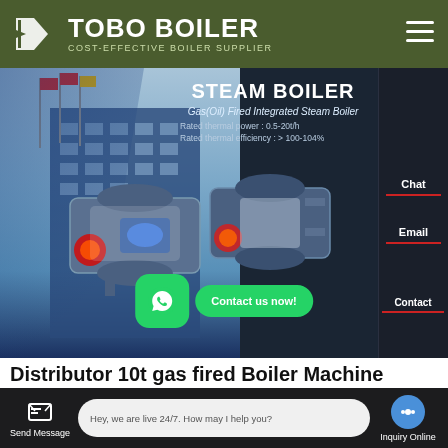[Figure (screenshot): TOBO BOILER website header with dark olive green background, white logo with stylized K icon, company name TOBO BOILER in large white bold text, subtitle COST-EFFECTIVE BOILER SUPPLIER, hamburger menu icon on right]
[Figure (screenshot): Website hero banner showing industrial building with flags on left, two blue/white gas-fired steam boilers in center, STEAM BOILER heading, product text Gas(Oil) Fired Integrated Steam Boiler with rated thermal power and efficiency specs, Chat and Email buttons on right side panel, WhatsApp contact buttons overlay, Contact button]
Distributor 10t gas fired Boiler Machine
[Figure (screenshot): WhatsApp green circle button and Contact us now! green pill button overlay at bottom of hero section]
[Figure (screenshot): Bottom navigation bar with Send Message icon on left, live chat bubble saying Hey, we are live 24/7. How may I help you? in center, Inquiry Online chat circle icon on right]